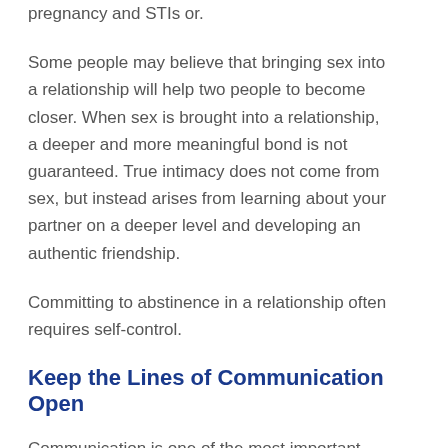pregnancy and STIs or.
Some people may believe that bringing sex into a relationship will help two people to become closer. When sex is brought into a relationship, a deeper and more meaningful bond is not guaranteed. True intimacy does not come from sex, but instead arises from learning about your partner on a deeper level and developing an authentic friendship.
Committing to abstinence in a relationship often requires self-control.
Keep the Lines of Communication Open
Communication is one of the most important aspects of abstinence and will help to ensure that everyone feels heard and understood in the relationship. Be honest and